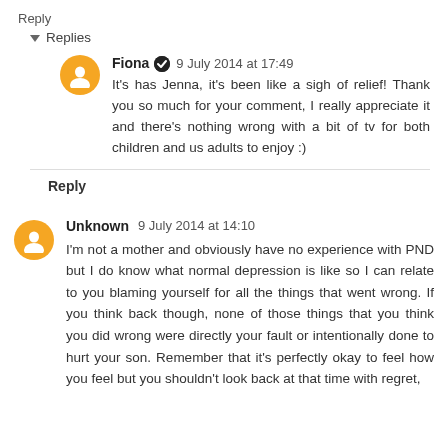Reply
▾ Replies
Fiona ✔ 9 July 2014 at 17:49
It's has Jenna, it's been like a sigh of relief! Thank you so much for your comment, I really appreciate it and there's nothing wrong with a bit of tv for both children and us adults to enjoy :)
Reply
Unknown 9 July 2014 at 14:10
I'm not a mother and obviously have no experience with PND but I do know what normal depression is like so I can relate to you blaming yourself for all the things that went wrong. If you think back though, none of those things that you think you did wrong were directly your fault or intentionally done to hurt your son. Remember that it's perfectly okay to feel how you feel but you shouldn't look back at that time with regret,